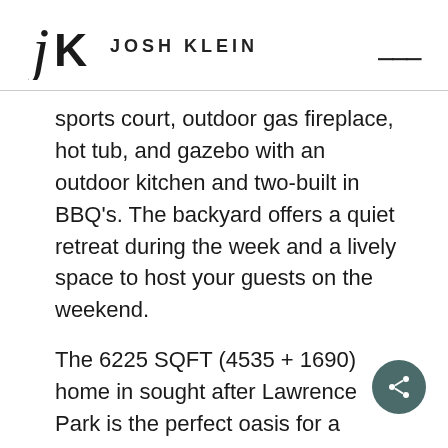JK JOSH KLEIN
sports court, outdoor gas fireplace, hot tub, and gazebo with an outdoor kitchen and two-built in BBQ's. The backyard offers a quiet retreat during the week and a lively space to host your guests on the weekend.
The 6225 SQFT (4535 + 1690) home in sought after Lawrence Park is the perfect oasis for a family.